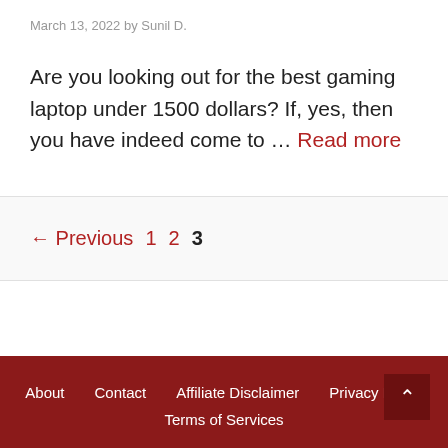March 13, 2022 by Sunil D.
Are you looking out for the best gaming laptop under 1500 dollars? If, yes, then you have indeed come to … Read more
← Previous 1 2 3
About  Contact  Affiliate Disclaimer  Privacy Policy  Terms of Services